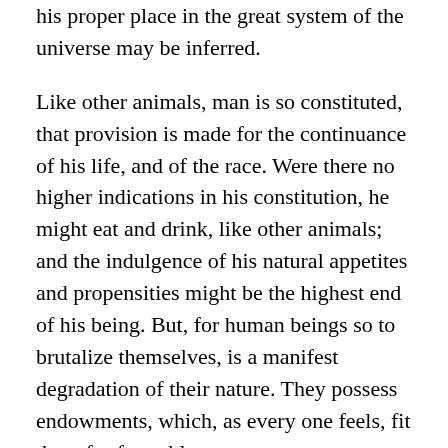his proper place in the great system of the universe may be inferred.
Like other animals, man is so constituted, that provision is made for the continuance of his life, and of the race. Were there no higher indications in his constitution, he might eat and drink, like other animals; and the indulgence of his natural appetites and propensities might be the highest end of his being. But, for human beings so to brutalize themselves, is a manifest degradation of their nature. They possess endowments, which, as every one feels, fit them for far nobler purposes.
The high intellectual powers of man, call for appropriate exercise. His knowledge is not confined to objects near at hand, nor to such relations and properties of things as are immediately perceived by